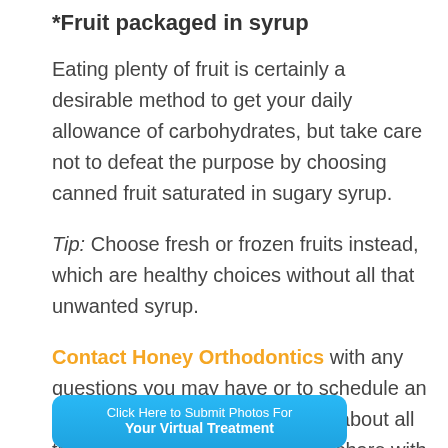*Fruit packaged in syrup
Eating plenty of fruit is certainly a desirable method to get your daily allowance of carbohydrates, but take care not to defeat the purpose by choosing canned fruit saturated in sugary syrup.
Tip: Choose fresh or frozen fruits instead, which are healthy choices without all that unwanted syrup.
Contact Honey Orthodontics with any questions you may have or to schedule an appointment. What do you think about all the sugar in our diets t below to share with o
[Figure (other): Blue rounded button overlay with text 'Click Here to Submit Photos For Your Virtual Treatment']